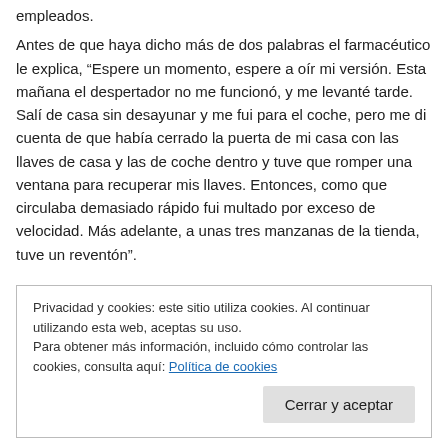empleados.
Antes de que haya dicho más de dos palabras el farmacéutico le explica, “Espere un momento, espere a oír mi versión. Esta mañana el despertador no me funcionó, y me levanté tarde. Salí de casa sin desayunar y me fui para el coche, pero me di cuenta de que había cerrado la puerta de mi casa con las llaves de casa y las de coche dentro y tuve que romper una ventana para recuperar mis llaves. Entonces, como que circulaba demasiado rápido fui multado por exceso de velocidad. Más adelante, a unas tres manzanas de la tienda, tuve un reventón”.
Privacidad y cookies: este sitio utiliza cookies. Al continuar utilizando esta web, aceptas su uso.
Para obtener más información, incluido cómo controlar las cookies, consulta aquí: Política de cookies
Cerrar y aceptar